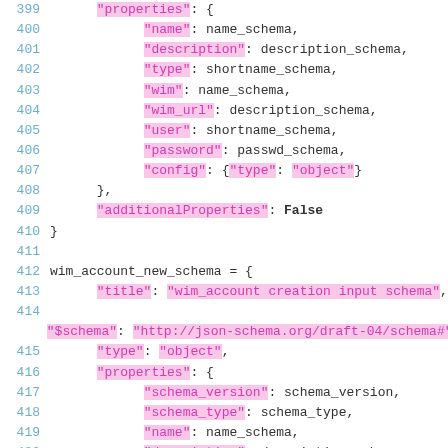Code listing lines 399-421 showing Python schema definition with JSON-like properties including wim_account_new_schema.